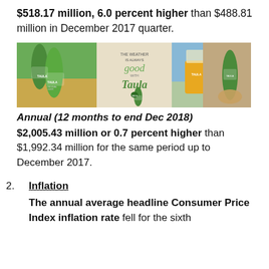$518.17 million, 6.0 percent higher than $488.81 million in December 2017 quarter.
[Figure (photo): Taula beer brand promotional banner showing green beer bottles, a beer mug, and tropical/beach settings with the text 'THE WEATHER IS ALWAYS good WITH Taula']
Annual (12 months to end Dec 2018)
$2,005.43 million or 0.7 percent higher than $1,992.34 million for the same period up to December 2017.
2. Inflation
The annual average headline Consumer Price Index inflation rate fell for the sixth